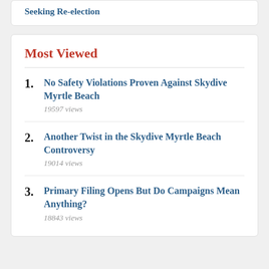Seeking Re-election
Most Viewed
No Safety Violations Proven Against Skydive Myrtle Beach
Another Twist in the Skydive Myrtle Beach Controversy
Primary Filing Opens But Do Campaigns Mean Anything?